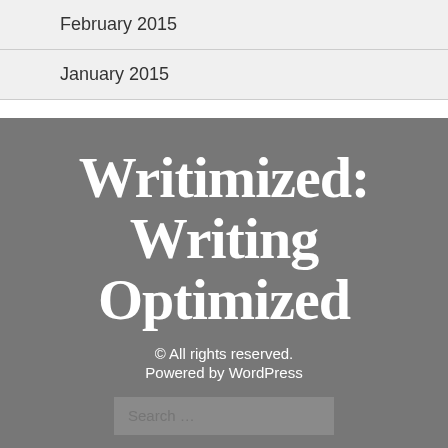February 2015
January 2015
Writimized: Writing Optimized
© All rights reserved.
Powered by WordPress